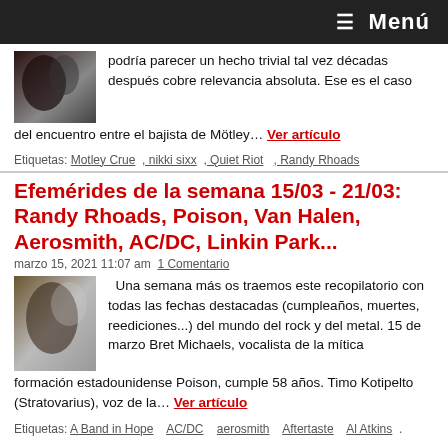≡ Menú
podría parecer un hecho trivial tal vez décadas después cobre relevancia absoluta. Ese es el caso del encuentro entre el bajista de Mötley… Ver artículo
Etiquetas: Motley Crue · nikki sixx · Quiet Riot · Randy Rhoads
Efemérides de la semana 15/03 - 21/03: Randy Rhoads, Poison, Van Halen, Aerosmith, AC/DC, Linkin Park...
marzo 15, 2021 11:07 am  1 Comentario
Una semana más os traemos este recopilatorio con todas las fechas destacadas (cumpleaños, muertes, reediciones...) del mundo del rock y del metal. 15 de marzo Bret Michaels, vocalista de la mítica formación estadounidense Poison, cumple 58 años. Timo Kotipelto (Stratovarius), voz de la… Ver artículo
Etiquetas: A Band in Hope · AC/DC · aerosmith · Aftertaste · Al Atkins